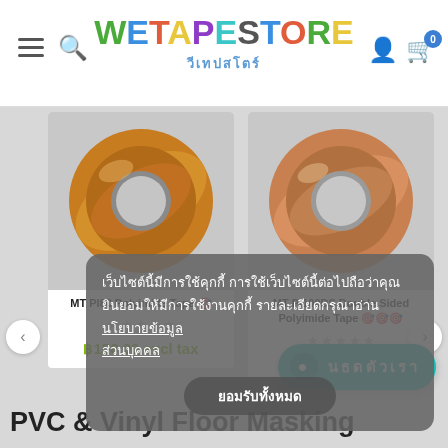WETAPESTORE วีเทปสโตร์
[Figure (screenshot): Product card: amber polyimide tape roll - MT PI80 Polyimide Tape]
[Figure (screenshot): Product card: amber polyimide double-sided tape roll - MT PI100DS Double Sided Polyimide Tape]
เว็บไซต์นี้มีการใช้คุกกี้ การใช้เว็บไซต์นี้ต่อไปถือว่าคุณยินยอมให้มีการใช้งานคุกกี้ รายละเอียดกรุณาอ่าน นโยบายข้อมูลส่วนบุคคล
ยอมรับทั้งหมด
฿150.00 excl tax
Call for pricing
ติดต่อเรา
PVC & Vinyl Floor Masking